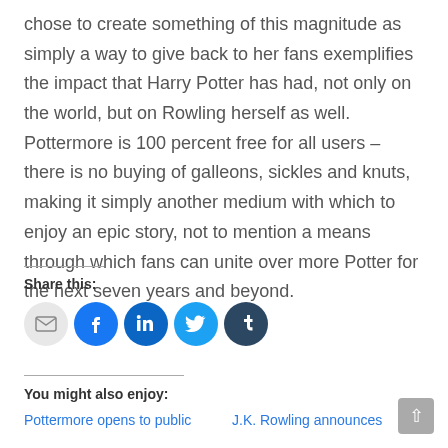chose to create something of this magnitude as simply a way to give back to her fans exemplifies the impact that Harry Potter has had, not only on the world, but on Rowling herself as well. Pottermore is 100 percent free for all users – there is no buying of galleons, sickles and knuts, making it simply another medium with which to enjoy an epic story, not to mention a means through which fans can unite over more Potter for the next seven years and beyond.
Share this:
[Figure (infographic): Row of five social share icon buttons: email (grey), Facebook (blue), LinkedIn (dark blue), Twitter (light blue), Tumblr (dark navy)]
You might also enjoy:
Pottermore opens to public
J.K. Rowling announces